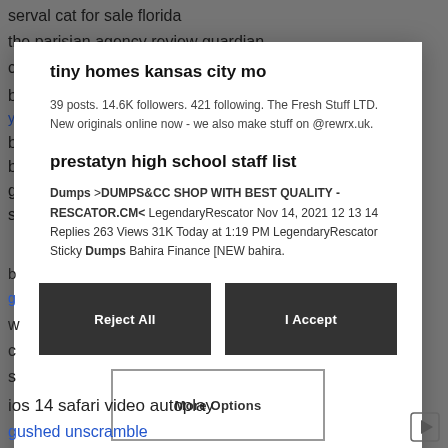serval cat for sale florida
the parisian agency review guardian
tiny homes kansas city mo
39 posts. 14.6K followers. 421 following. The Fresh Stuff LTD. New originals online now - we also make stuff on @rewrx.uk.
prestatyn high school staff list
Dumps >DUMPS&CC SHOP WITH BEST QUALITY - RESCATOR.CM< LegendaryRescator Nov 14, 2021 12 13 14 Replies 263 Views 31K Today at 1:19 PM LegendaryRescator Sticky Dumps Bahira Finance [NEW bahira.
Reject All
I Accept
More Options
ios 14 safari video autoplay
gushed unscramble